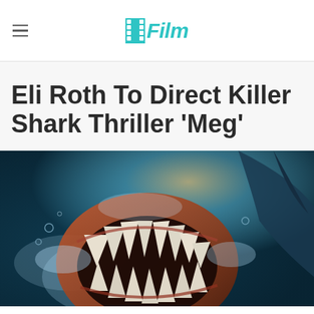/Film
Eli Roth To Direct Killer Shark Thriller 'Meg'
[Figure (photo): Movie promotional image showing a giant shark with open jaws full of jagged teeth, underwater scene with blue tones and dramatic lighting, appearing to be from the movie 'Meg']